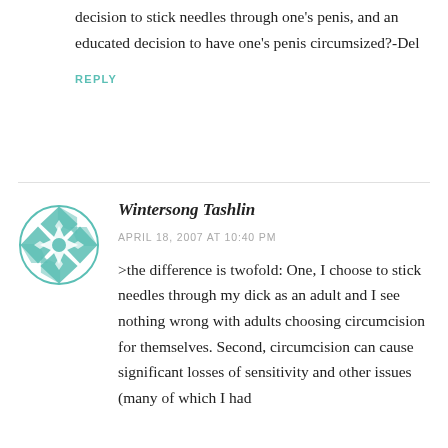decision to stick needles through one's penis, and an educated decision to have one's penis circumsized?-Del
REPLY
[Figure (logo): Teal geometric mandala/snowflake avatar icon]
Wintersong Tashlin
APRIL 18, 2007 AT 10:40 PM
>the difference is twofold: One, I choose to stick needles through my dick as an adult and I see nothing wrong with adults choosing circumcision for themselves. Second, circumcision can cause significant losses of sensitivity and other issues (many of which I had